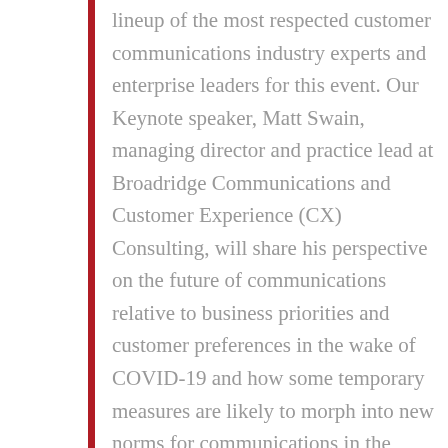lineup of the most respected customer communications industry experts and enterprise leaders for this event. Our Keynote speaker, Matt Swain, managing director and practice lead at Broadridge Communications and Customer Experience (CX) Consulting, will share his perspective on the future of communications relative to business priorities and customer preferences in the wake of COVID-19 and how some temporary measures are likely to morph into new norms for communications in the future. Attendees will also have the opportunity to hear from Kaspar

Roos, founder and CEO of Aspire Customer